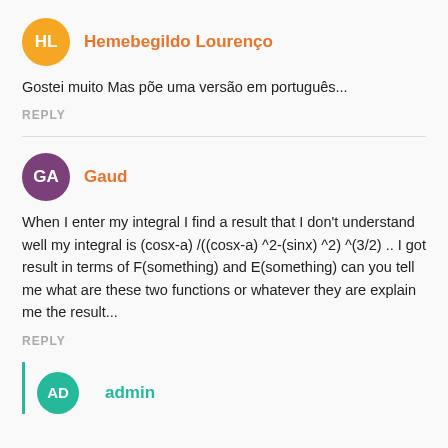HL  Hemebegildo Lourenço
Gostei muito Mas põe uma versão em português...
REPLY
GA  Gaud
When I enter my integral I find a result that I don't understand well my integral is (cosx-a) /((cosx-a) ^2-(sinx) ^2) ^(3/2) .. I got result in terms of F(something) and E(something) can you tell me what are these two functions or whatever they are explain me the result...
REPLY
AD  admin